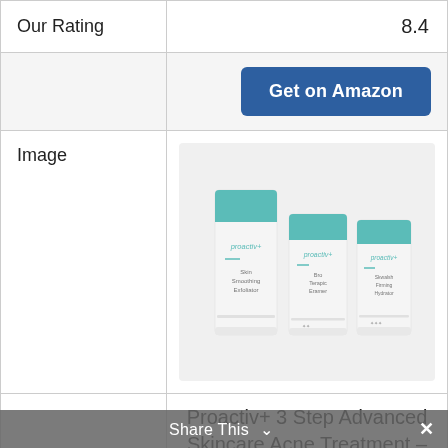| Our Rating | 8.4 |
| --- | --- |
|  | Get on Amazon |
| Image | [Proactiv+ product image] |
| Product Name | Proactiv+ 3 Step Advanced Skincare Acne Treatment – Benzoyl Peroxide Face Wash, Salicylic Acid Exfoliator for |
Share This ×